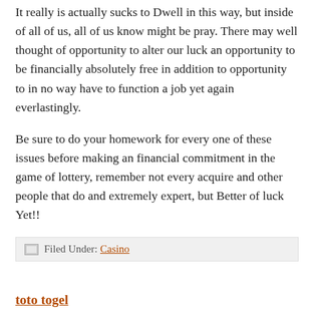It really is actually sucks to Dwell in this way, but inside of all of us, all of us know might be pray. There may well thought of opportunity to alter our luck an opportunity to be financially absolutely free in addition to opportunity to in no way have to function a job yet again everlastingly.
Be sure to do your homework for every one of these issues before making an financial commitment in the game of lottery, remember not every acquire and other people that do and extremely expert, but Better of luck Yet!!
Filed Under: Casino
toto togel
raja slot88